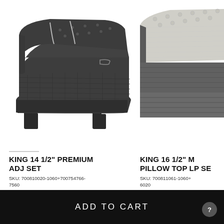[Figure (photo): Dark gray adjustable base mattress set in elevated/articulated position, photographed on white background, left product image]
[Figure (photo): Light gray pillow top LP mattress set, partially cropped on right side, photographed on white background, right product image]
KING 14 1/2" PREMIUM ADJ SET
SKU: 700810020-1060+700754766-7560
KING 16 1/2" M... PILLOW TOP LP SE...
SKU: 700811061-1060+... 6020
ADD TO CART